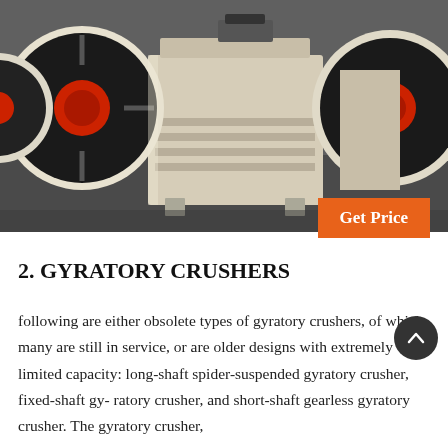[Figure (photo): Industrial jaw crusher machine, cream/beige colored with large black flywheels with red centers on the left and right sides, photographed in an industrial facility with a dark concrete floor.]
Get Price
2. GYRATORY CRUSHERS
following are either obsolete types of gyratory crushers, of which many are still in service, or are older designs with extremely limited capacity: long-shaft spider-suspended gyratory crusher, fixed-shaft gy- ratory crusher, and short-shaft gearless gyratory crusher. The gyratory crusher,